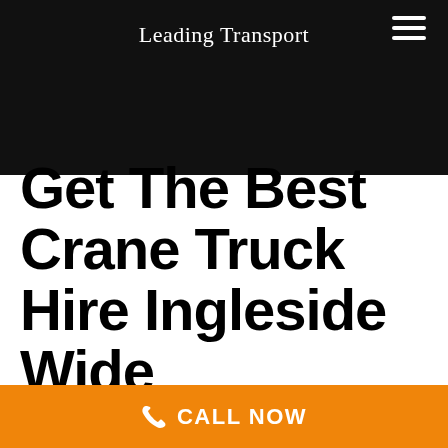Leading Transport
Get The Best Crane Truck Hire Ingleside Wide
CALL NOW